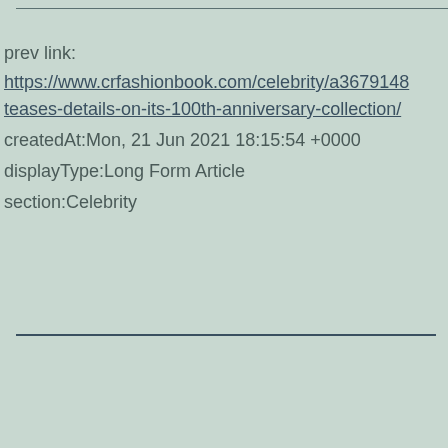prev link:
https://www.crfashionbook.com/celebrity/a36791488/teases-details-on-its-100th-anniversary-collection/
createdAt:Mon, 21 Jun 2021 18:15:54 +0000
displayType:Long Form Article
section:Celebrity